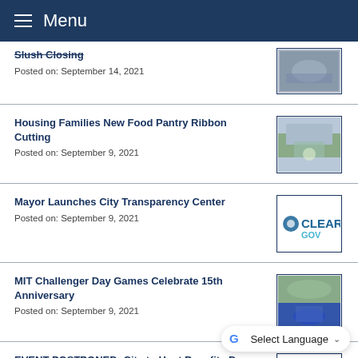Menu
Slush Closing
Posted on: September 14, 2021
Housing Families New Food Pantry Ribbon Cutting
Posted on: September 9, 2021
Mayor Launches City Transparency Center
Posted on: September 9, 2021
MIT Challenger Day Games Celebrate 15th Anniversary
Posted on: September 9, 2021
EVENT POSTPONED- City to Host Benefits Day Event
Posted on: September 2, 2021